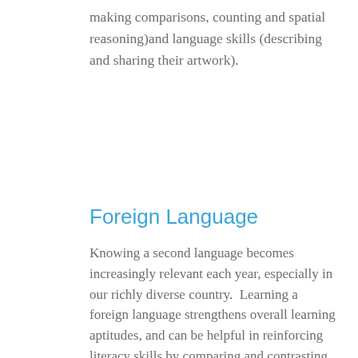making comparisons, counting and spatial reasoning)and language skills (describing and sharing their artwork).
Foreign Language
Knowing a second language becomes increasingly relevant each year, especially in our richly diverse country.  Learning a foreign language strengthens overall learning aptitudes, and can be helpful in reinforcing literacy skills by comparing and contrasting two or more languages together. For these reasons, we provide instruction in Spanish to all of our students.  To learn more about this, you can visit our Enrichment Programs page.